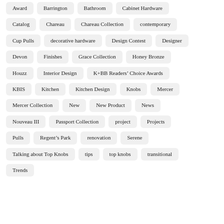Award
Barrington
Bathroom
Cabinet Hardware
Catalog
Chareau
Chareau Collection
contemporary
Cup Pulls
decorative hardware
Design Contest
Designer
Devon
Finishes
Grace Collection
Honey Bronze
Houzz
Interior Design
K+BB Readers’ Choice Awards
KBIS
Kitchen
Kitchen Design
Knobs
Mercer
Mercer Collection
New
New Product
News
Nouveau III
Passport Collection
project
Projects
Pulls
Regent’s Park
renovation
Serene
Talking about Top Knobs
tips
top knobs
transitional
Trends